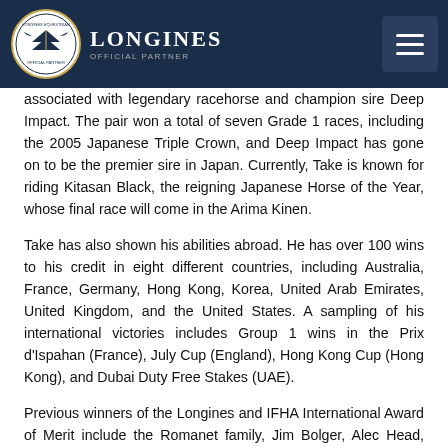Longines Official Partner — navigation header
associated with legendary racehorse and champion sire Deep Impact. The pair won a total of seven Grade 1 races, including the 2005 Japanese Triple Crown, and Deep Impact has gone on to be the premier sire in Japan. Currently, Take is known for riding Kitasan Black, the reigning Japanese Horse of the Year, whose final race will come in the Arima Kinen.
Take has also shown his abilities abroad. He has over 100 wins to his credit in eight different countries, including Australia, France, Germany, Hong Kong, Korea, United Arab Emirates, United Kingdom, and the United States. A sampling of his international victories includes Group 1 wins in the Prix d'Ispahan (France), July Cup (England), Hong Kong Cup (Hong Kong), and Dubai Duty Free Stakes (UAE).
Previous winners of the Longines and IFHA International Award of Merit include the Romanet family, Jim Bolger, Alec Head, Seth Hancock, and the late Marcel Zarour Atanacio.
About Longines